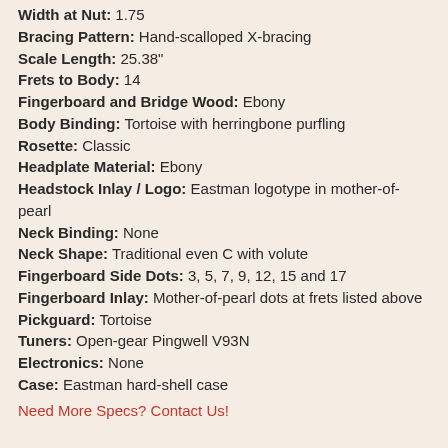Width at Nut: 1.75
Bracing Pattern: Hand-scalloped X-bracing
Scale Length: 25.38"
Frets to Body: 14
Fingerboard and Bridge Wood: Ebony
Body Binding: Tortoise with herringbone purfling
Rosette: Classic
Headplate Material: Ebony
Headstock Inlay / Logo: Eastman logotype in mother-of-pearl
Neck Binding: None
Neck Shape: Traditional even C with volute
Fingerboard Side Dots: 3, 5, 7, 9, 12, 15 and 17
Fingerboard Inlay: Mother-of-pearl dots at frets listed above
Pickguard: Tortoise
Tuners: Open-gear Pingwell V93N
Electronics: None
Case: Eastman hard-shell case
Need More Specs? Contact Us!